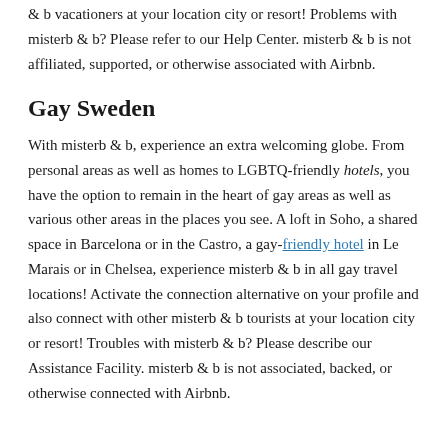& b vacationers at your location city or resort! Problems with misterb & b? Please refer to our Help Center. misterb & b is not affiliated, supported, or otherwise associated with Airbnb.
Gay Sweden
With misterb & b, experience an extra welcoming globe. From personal areas as well as homes to LGBTQ-friendly hotels, you have the option to remain in the heart of gay areas as well as various other areas in the places you see. A loft in Soho, a shared space in Barcelona or in the Castro, a gay-friendly hotel in Le Marais or in Chelsea, experience misterb & b in all gay travel locations! Activate the connection alternative on your profile and also connect with other misterb & b tourists at your location city or resort! Troubles with misterb & b? Please describe our Assistance Facility. misterb & b is not associated, backed, or otherwise connected with Airbnb.